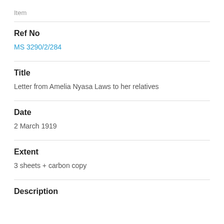Item
Ref No
MS 3290/2/284
Title
Letter from Amelia Nyasa Laws to her relatives
Date
2 March 1919
Extent
3 sheets + carbon copy
Description